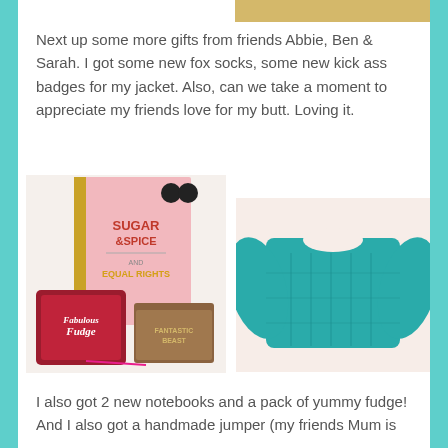[Figure (photo): Decorative tan/gold colored strip at top right of page]
Next up some more gifts from friends Abbie, Ben & Sarah. I got some new fox socks, some new kick ass badges for my jacket. Also, can we take a moment to appreciate my friends love for my butt. Loving it.
[Figure (photo): Photo showing a pink 'Sugar & Spice and Equal Rights' book/notebook with gold spine, a bag of Thorntons Fabulous Fudge, and a brown Fantastic Beasts notebook]
[Figure (photo): Photo of a teal/turquoise cable-knit jumper/sweater laid flat on a light surface]
I also got 2 new notebooks and a pack of yummy fudge! And I also got a handmade jumper (my friends Mum is